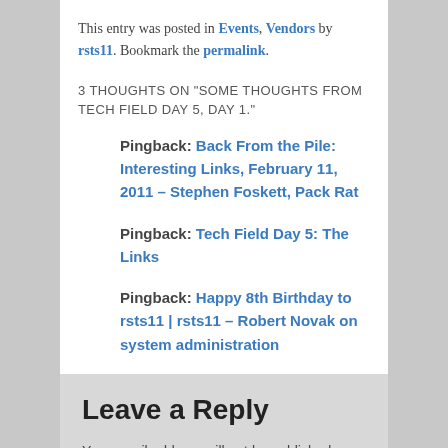This entry was posted in Events, Vendors by rsts11. Bookmark the permalink.
3 THOUGHTS ON "SOME THOUGHTS FROM TECH FIELD DAY 5, DAY 1."
Pingback: Back From the Pile: Interesting Links, February 11, 2011 – Stephen Foskett, Pack Rat
Pingback: Tech Field Day 5: The Links
Pingback: Happy 8th Birthday to rsts11 | rsts11 – Robert Novak on system administration
Leave a Reply
Your email address will not be published. Required fields are marked *